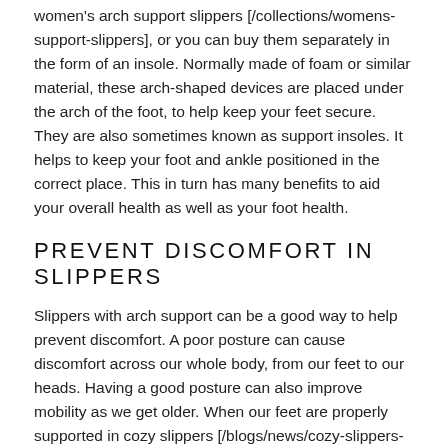women's arch support slippers [/collections/womens-support-slippers], or you can buy them separately in the form of an insole. Normally made of foam or similar material, these arch-shaped devices are placed under the arch of the foot, to help keep your feet secure. They are also sometimes known as support insoles. It helps to keep your foot and ankle positioned in the correct place. This in turn has many benefits to aid your overall health as well as your foot health.
PREVENT DISCOMFORT IN SLIPPERS
Slippers with arch support can be a good way to help prevent discomfort. A poor posture can cause discomfort across our whole body, from our feet to our heads. Having a good posture can also improve mobility as we get older. When our feet are properly supported in cozy slippers [/blogs/news/cozy-slippers-for-cold-evenings] we can hold a better posture. This can have a knock on effect on other joints such as our knees and hips. Keeping your feet secure in slippers with arch support is perfect whilst lounging at home. Whether you like to enjoy your morning coffee on the